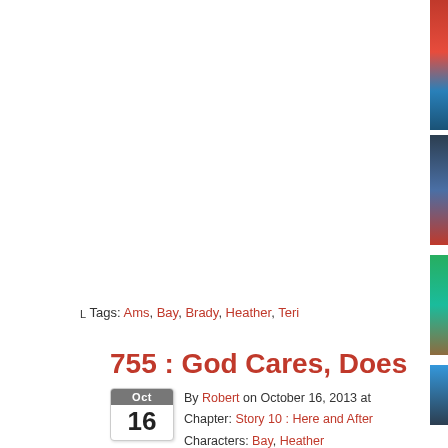[Figure (illustration): Vertical sidebar strip of thumbnail images on the right edge of the page]
⌐ Tags: Ams, Bay, Brady, Heather, Teri
755 : God Cares, Does
By Robert on October 16, 2013 at Chapter: Story 10 : Here and After Characters: Bay, Heather